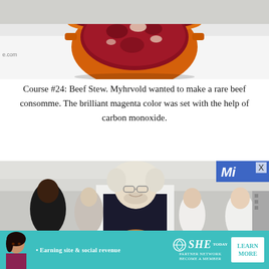[Figure (photo): Orange cast-iron pot containing beef stew with dark red/magenta consomme and visible meat pieces, photographed from above on a white surface]
Course #24: Beef Stew. Myhrvold wanted to make a rare beef consomme. The brilliant magenta color was set with the help of carbon monoxide.
[Figure (photo): Man with white-blond hair and glasses, wearing white chef coat and dark apron, smiling and holding food, surrounded by kitchen staff in a professional kitchen]
[Figure (photo): Advertisement banner: SHE Media Partner Network. Earning site & social revenue. LEARN MORE. BECOME A MEMBER.]